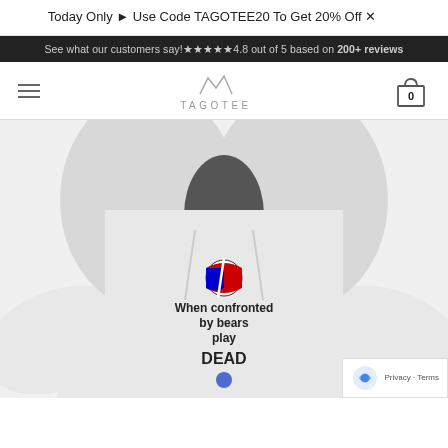Today Only ▸ Use Code TAGOTEE20 To Get 20% Off
See what our customers say! ★★★★★ 4.8 out of 5 based on 200+ reviews
[Figure (screenshot): Tagotee e-commerce website navigation bar with hamburger menu, TAGOTEE logo, and shopping cart icon showing 0 items]
[Figure (photo): White hoodie sweatshirt with Grateful Dead inspired graphic showing a lightning bolt skull logo and text 'When confronted by bears play DEAD' with a dancing bear graphic]